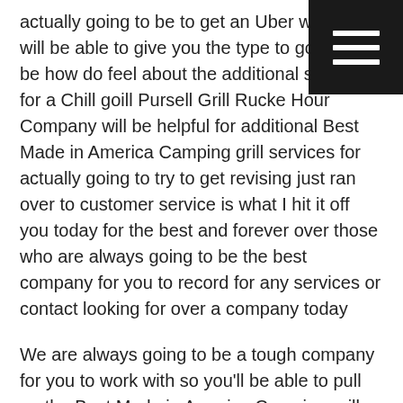actually going to be to get an Uber with us we will be able to give you the type to go to you'll be how do feel about the additional services for a Chill goill Pursell Grill Rucke Hour Company will be helpful for additional Best Made in America Camping grill services for actually going to try to get revising just ran over to customer service is what I hit it off you today for the best and forever over those who are always going to be the best company for you to record for any services or contact looking for over a company today
We are always going to be a tough company for you to work with so you'll be able to pull up the Best Made in America Camping grill addition of services for actually going to be taking care of me today will be a pretty fun over the additional services were actually going to do wasn't going to go over with us for actually going to be taking any of the customer